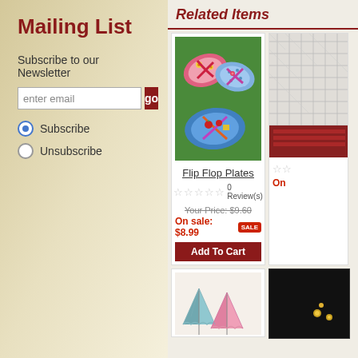Mailing List
Subscribe to our Newsletter
enter email
Subscribe
Unsubscribe
Related Items
[Figure (photo): Flip flop shaped plates on green background with food]
Flip Flop Plates
0 Review(s)
Your Price: $9.60
On sale: $8.99 SALE
Add To Cart
[Figure (photo): White net/mesh material with red yarn - partially visible]
On
[Figure (photo): Colorful paper cocktail umbrellas - partially visible]
[Figure (photo): Dark background product - partially visible]